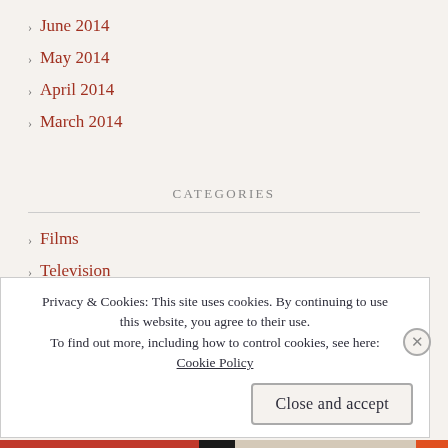June 2014
May 2014
April 2014
March 2014
CATEGORIES
Films
Television
Privacy & Cookies: This site uses cookies. By continuing to use this website, you agree to their use. To find out more, including how to control cookies, see here: Cookie Policy
Close and accept